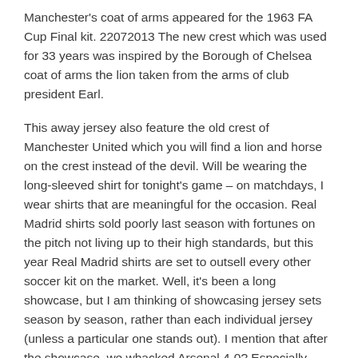Manchester's coat of arms appeared for the 1963 FA Cup Final kit. 22072013 The new crest which was used for 33 years was inspired by the Borough of Chelsea coat of arms the lion taken from the arms of club president Earl.
This away jersey also feature the old crest of Manchester United which you will find a lion and horse on the crest instead of the devil. Will be wearing the long-sleeved shirt for tonight's game – on matchdays, I wear shirts that are meaningful for the occasion. Real Madrid shirts sold poorly last season with fortunes on the pitch not living up to their high standards, but this year Real Madrid shirts are set to outsell every other soccer kit on the market. Well, it's been a long showcase, but I am thinking of showcasing jersey sets season by season, rather than each individual jersey (unless a particular one stands out). I mention that after the showcase, we whacked Arsenal 4-0? Especially sweet given how we nailed Arsenal in the FA Cup. PS.